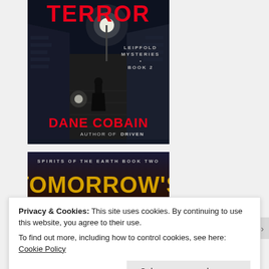[Figure (illustration): Book cover for 'Terror' by Dane Cobain, Leipfold Mysteries Book 2. Dark alley scene with a silhouetted figure under a streetlamp, cobblestone street. Red title text 'TERROR' at top, author name 'DANE COBAIN' in red at bottom, 'AUTHOR of DRIVEN' subtitle, series text 'LEIPFOLD MYSTERIES • BOOK 2' in grey.]
[Figure (illustration): Partial book cover for 'Tomorrow's...' (Spirits of the Earth Book Two) by an author. Dark background with golden/yellow large title text. Only top portion visible.]
Privacy & Cookies: This site uses cookies. By continuing to use this website, you agree to their use.
To find out more, including how to control cookies, see here: Cookie Policy
Close and accept